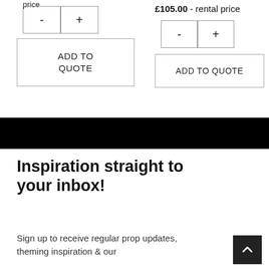price
[Figure (other): Quantity selector widget with minus and plus buttons, left column]
[Figure (other): Add to Quote button, left column]
£105.00 - rental price
[Figure (other): Quantity selector widget with minus and plus buttons, right column]
[Figure (other): ADD TO QUOTE button, right column]
[Figure (other): Black horizontal banner/divider bar]
Inspiration straight to your inbox!
Sign up to receive regular prop updates, theming inspiration & our